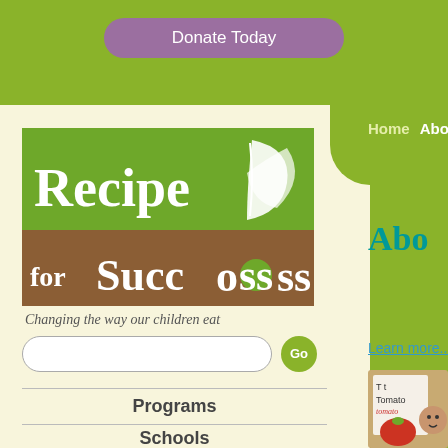Donate Today
[Figure (logo): Recipe for Success logo — green and brown blocks with leaf graphic and text 'Recipe for Success']
Changing the way our children eat
Go (search button)
Programs
Schools
Staff
Home  About Us
Abo (About Us)
Learn more...
[Figure (photo): Child holding a paper with 'Tomato' written and a tomato illustration]